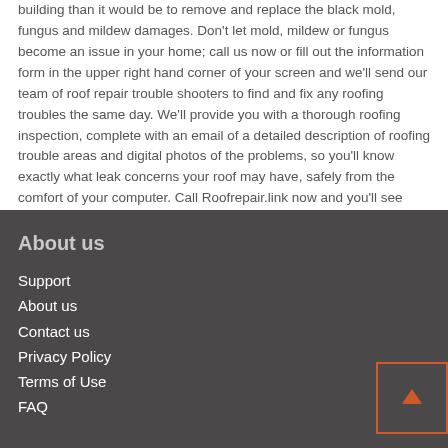building than it would be to remove and replace the black mold, fungus and mildew damages. Don't let mold, mildew or fungus become an issue in your home; call us now or fill out the information form in the upper right hand corner of your screen and we'll send our team of roof repair trouble shooters to find and fix any roofing troubles the same day. We'll provide you with a thorough roofing inspection, complete with an email of a detailed description of roofing trouble areas and digital photos of the problems, so you'll know exactly what leak concerns your roof may have, safely from the comfort of your computer. Call Roofrepair.link now and you'll see why we are the top roofing repair, replacement and inspection company in the entire South East area.
About us
Support
About us
Contact us
Privacy Policy
Terms of Use
FAQ